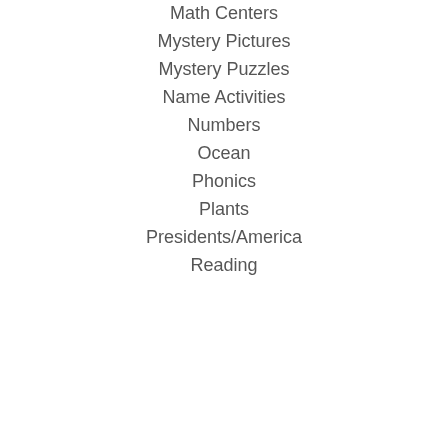Math Centers
Mystery Pictures
Mystery Puzzles
Name Activities
Numbers
Ocean
Phonics
Plants
Presidents/America
Reading